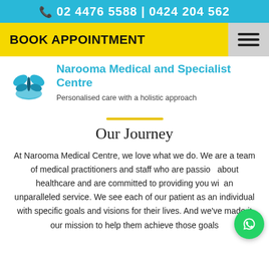📞 02 4476 5588 | 0424 204 562
BOOK APPOINTMENT
[Figure (logo): Narooma Medical and Specialist Centre logo — blue butterfly/leaf motif above a hand]
Narooma Medical and Specialist Centre
Personalised care with a holistic approach
Our Journey
At Narooma Medical Centre, we love what we do. We are a team of medical practitioners and staff who are passionate about healthcare and are committed to providing you with an unparalleled service. We see each of our patient as an individual with specific goals and visions for their lives. And we've made it our mission to help them achieve those goals.